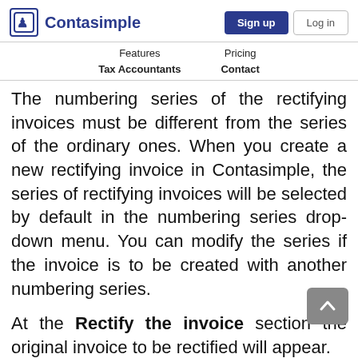Contasimple | Sign up | Log in
Features | Pricing | Tax Accountants | Contact
The numbering series of the rectifying invoices must be different from the series of the ordinary ones. When you create a new rectifying invoice in Contasimple, the series of rectifying invoices will be selected by default in the numbering series drop-down menu. You can modify the series if the invoice is to be created with another numbering series.
At the Rectify the invoice section the original invoice to be rectified will appear.